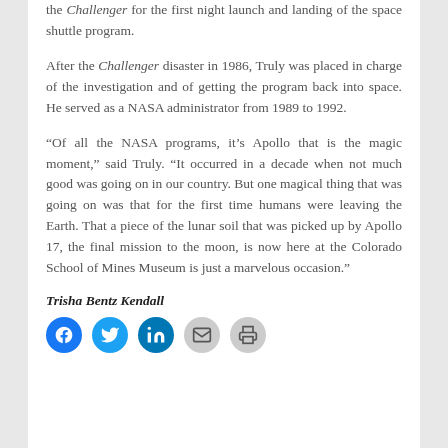the Challenger for the first night launch and landing of the space shuttle program.
After the Challenger disaster in 1986, Truly was placed in charge of the investigation and of getting the program back into space. He served as a NASA administrator from 1989 to 1992.
“Of all the NASA programs, it’s Apollo that is the magic moment,” said Truly. “It occurred in a decade when not much good was going on in our country. But one magical thing that was going on was that for the first time humans were leaving the Earth. That a piece of the lunar soil that was picked up by Apollo 17, the final mission to the moon, is now here at the Colorado School of Mines Museum is just a marvelous occasion.”
Trisha Bentz Kendall
[Figure (other): Social media sharing icons: Facebook, Twitter, LinkedIn, Email, Print]